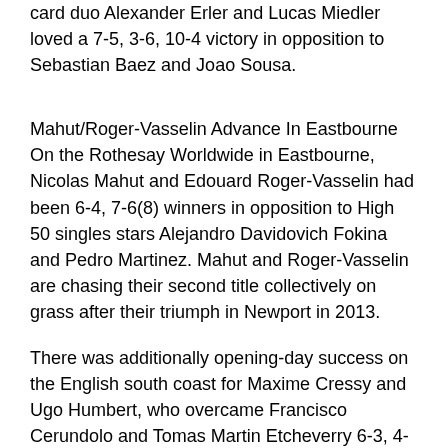card duo Alexander Erler and Lucas Miedler loved a 7-5, 3-6, 10-4 victory in opposition to Sebastian Baez and Joao Sousa.
Mahut/Roger-Vasselin Advance In Eastbourne On the Rothesay Worldwide in Eastbourne, Nicolas Mahut and Edouard Roger-Vasselin had been 6-4, 7-6(8) winners in opposition to High 50 singles stars Alejandro Davidovich Fokina and Pedro Martinez. Mahut and Roger-Vasselin are chasing their second title collectively on grass after their triumph in Newport in 2013.
There was additionally opening-day success on the English south coast for Maxime Cressy and Ugo Humbert, who overcame Francisco Cerundolo and Tomas Martin Etcheverry 6-3, 4-6, 10-8, whereas Aleksandr Nedovyesov and Aisam-Ul-Haq-Qureshi downed dwelling wild card pairing